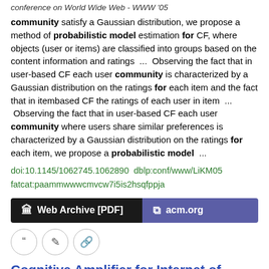conference on World Wide Web - WWW '05
community satisfy a Gaussian distribution, we propose a method of probabilistic model estimation for CF, where objects (user or items) are classified into groups based on the content information and ratings  ...  Observing the fact that in user-based CF each user community is characterized by a Gaussian distribution on the ratings for each item and the fact that in itembased CF the ratings of each user in item  ...  Observing the fact that in user-based CF each user community where users share similar preferences is characterized by a Gaussian distribution on the ratings for each item, we propose a probabilistic model  ...
doi:10.1145/1062745.1062890  dblp:conf/www/LiKM05
fatcat:paammwwwcmvcw7i5is2hsqfppja
[Figure (other): Two buttons: 'Web Archive [PDF]' (black background) and 'acm.org' (purple background)]
[Figure (other): Three circular icon buttons: quote, edit, and link icons]
Cognitive Amplifier for Internet of Things [ARTICLE]
Bing Huang, Athman Bouguettaya, Azadeh Ghari Neiat
2020  arXiv   PRE-PRINT
The prediction component takes the discovered knowledge as the